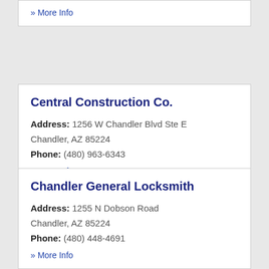» More Info
Central Construction Co.
Address: 1256 W Chandler Blvd Ste E Chandler, AZ 85224
Phone: (480) 963-6343
» More Info
Chandler General Locksmith
Address: 1255 N Dobson Road Chandler, AZ 85224
Phone: (480) 448-4691
» More Info